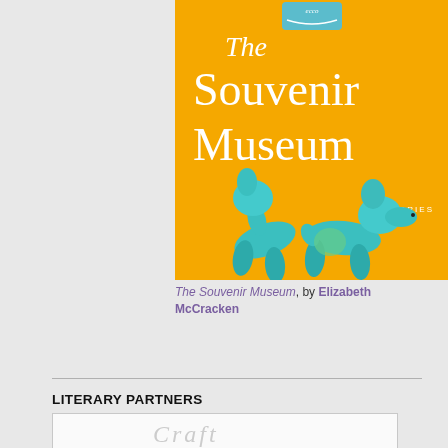[Figure (illustration): Book cover of 'The Souvenir Museum' by Elizabeth McCracken. Yellow/golden background with large white serif text reading 'The Souvenir Museum'. Two balloon animals (dogs) made of teal/turquoise balloons in the foreground. Word 'STORIES' in small text at bottom right. A small publisher logo (appears to be Ecco/HarperCollins) at top center.]
The Souvenir Museum, by Elizabeth McCracken
LITERARY PARTNERS
[Figure (logo): Craft magazine logo inside a bordered rectangle box, shown partially at the bottom of the page.]